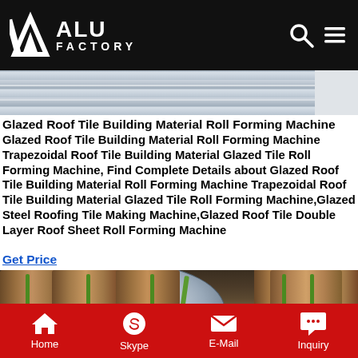ALU FACTORY
[Figure (photo): Top strip showing metal sheet/aluminum material in grey tones]
Glazed Roof Tile Building Material Roll Forming Machine
Glazed Roof Tile Building Material Roll Forming Machine Trapezoidal Roof Tile Building Material Glazed Tile Roll Forming Machine, Find Complete Details about Glazed Roof Tile Building Material Roll Forming Machine Trapezoidal Roof Tile Building Material Glazed Tile Roll Forming Machine,Glazed Steel Roofing Tile Making Machine,Glazed Roof Tile Double Layer Roof Sheet Roll Forming Machine
Get Price
[Figure (photo): Warehouse with large metal coils wrapped in brown paper/cardboard, bound with green straps, stacked on pallets]
Home  Skype  E-Mail  Inquiry